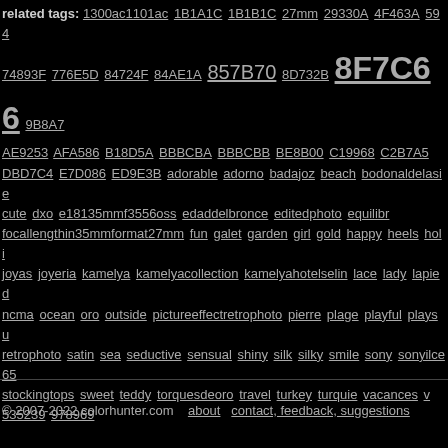related tags: 1300ac1101ac 1B1A1C 1B1B1C 27mm 29330A 4F463A 594... 74893F 776E5D 84724F 84AE1A 857B70 8D732B 8F7C66 9B8A7... AE9253 AFA586 B18D5A BBBCBA BBBCBB BE8B00 C19968 C2B7A5 ... DBD7C4 E7D086 ED9E3B adorable adorno badajoz beach bodonaldelasie... cute dxo e18135mmf3556oss edaddelbronce editedphoto equilibr... focallengthin35mmformat27mm fun galet garden girl gold happy heels holi... joyas joyeria kamelya kamelyacollection kamelyahotelselin lace lady lapied... ncma ocean oro outside pictureeffectretrophoto pierre plage playful playsu... retrophoto satin sea seductive sensual shiny silk silky smile sony sonyilce65... stockingtops sweet teddy torquesdeoro travel turkey turquie vacances v... 535239 978969
© 2007-2022 colorhunter.com   about   contact, feedback, suggestions